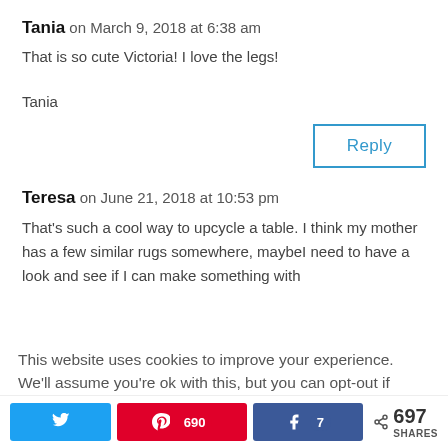Tania on March 9, 2018 at 6:38 am
That is so cute Victoria! I love the legs!

Tania
Reply
Teresa on June 21, 2018 at 10:53 pm
That's such a cool way to upcycle a table. I think my mother has a few similar rugs somewhere, maybeI need to have a look and see if I can make something with th…
This website uses cookies to improve your experience. We'll assume you're ok with this, but you can opt-out if
697 SHARES